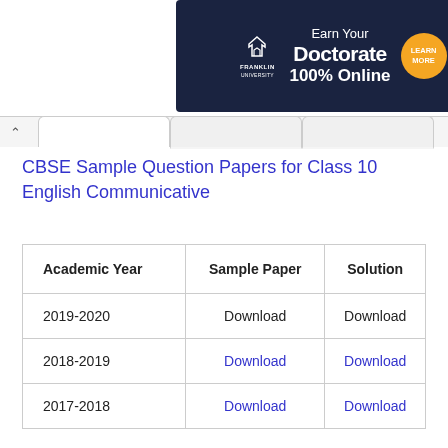[Figure (other): Franklin University advertisement banner: Earn Your Doctorate 100% Online with Learn More badge]
CBSE Sample Question Papers for Class 10 English Communicative
| Academic Year | Sample Paper | Solution |
| --- | --- | --- |
| 2019-2020 | Download | Download |
| 2018-2019 | Download | Download |
| 2017-2018 | Download | Download |